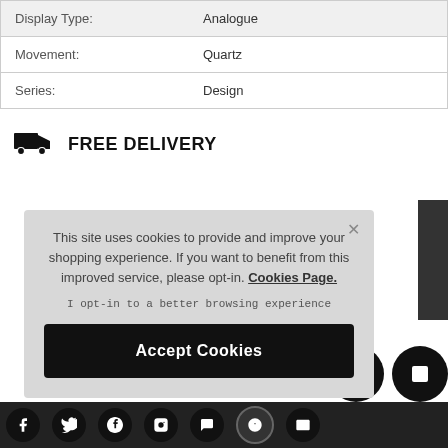| Display Type: | Analogue |
| Movement: | Quartz |
| Series: | Design |
FREE DELIVERY
This site uses cookies to provide and improve your shopping experience. If you want to benefit from this improved service, please opt-in. Cookies Page.

I opt-in to a better browsing experience

Accept Cookies